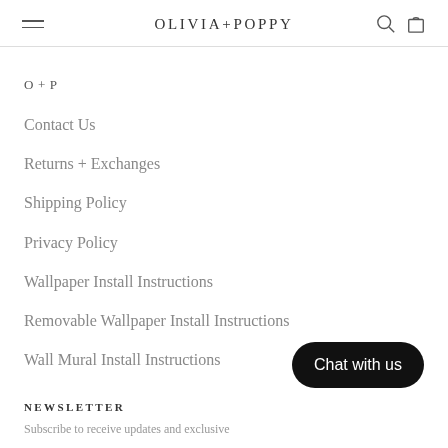OLIVIA+POPPY
O + P
Contact Us
Returns + Exchanges
Shipping Policy
Privacy Policy
Wallpaper Install Instructions
Removable Wallpaper Install Instructions
Wall Mural Install Instructions
Chat with us
NEWSLETTER